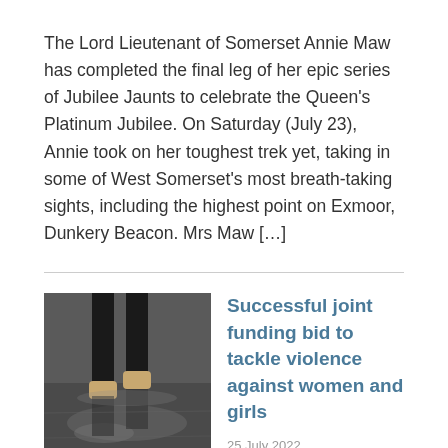The Lord Lieutenant of Somerset Annie Maw has completed the final leg of her epic series of Jubilee Jaunts to celebrate the Queen's Platinum Jubilee. On Saturday (July 23), Annie took on her toughest trek yet, taking in some of West Somerset's most breath-taking sights, including the highest point on Exmoor, Dunkery Beacon. Mrs Maw […]
[Figure (photo): Photo of a person's legs/feet walking on a wet reflective pavement surface in rainy conditions]
Successful joint funding bid to tackle violence against women and girls
25 July 2022